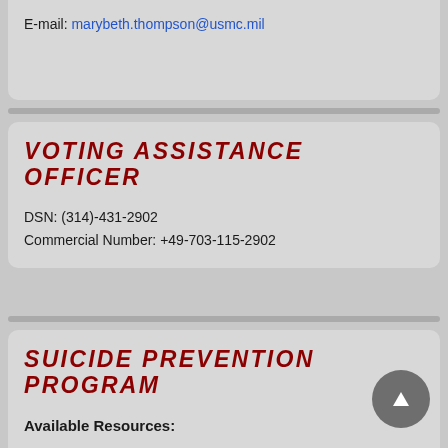E-mail: marybeth.thompson@usmc.mil
VOTING ASSISTANCE OFFICER
DSN:  (314)-431-2902
Commercial Number:  +49-703-115-2902
SUICIDE PREVENTION PROGRAM
Available Resources: